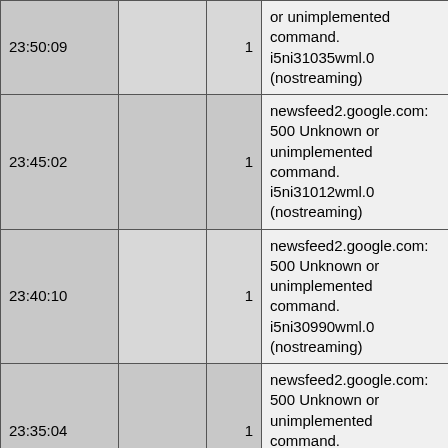| Time |  | Count | Message |
| --- | --- | --- | --- |
| 23:50:09 |  | 1 | or unimplemented command. i5ni31035wml.0 (nostreaming) |
| 23:45:02 |  | 1 | newsfeed2.google.com: 500 Unknown or unimplemented command. i5ni31012wml.0 (nostreaming) |
| 23:40:10 |  | 1 | newsfeed2.google.com: 500 Unknown or unimplemented command. i5ni30990wml.0 (nostreaming) |
| 23:35:04 |  | 1 | newsfeed2.google.com: 500 Unknown or unimplemented command. i5ni30967wml.0 (nostreaming) |
| 23:30:16 |  | 1 | newsfeed2.google.com: 500 Unknown or unimplemented command. i5ni30946wml.0 (nostreaming) |
| 23:25:11 |  | 1 | newsfeed2.google.com: 500 Unknown or unimplemented command. i5ni30924wml.0 (nostreaming) |
| 23:10:08 |  | 1 | newsfeed2.google.com: 500 Unknown or unimplemented command. i5ni30842wml.0 (nostreaming) |
| 23:05:07 |  | 1 | newsfeed2.google.com: 500 Unknown or unimplemented command. i5ni30818wml.0 (nostreaming) |